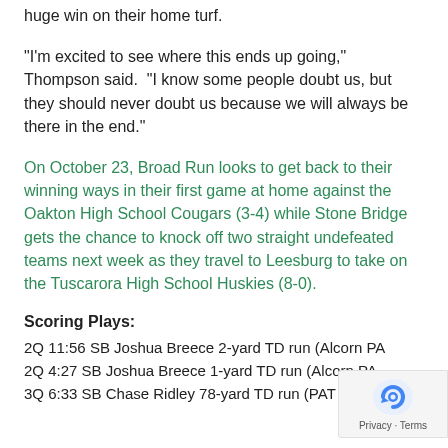huge win on their home turf.
“I’m excited to see where this ends up going,” Thompson said.  “I know some people doubt us, but they should never doubt us because we will always be there in the end.”
On October 23, Broad Run looks to get back to their winning ways in their first game at home against the Oakton High School Cougars (3-4) while Stone Bridge gets the chance to knock off two straight undefeated teams next week as they travel to Leesburg to take on the Tuscarora High School Huskies (8-0).
Scoring Plays:
2Q 11:56 SB Joshua Breece 2-yard TD run (Alcorn PA
2Q 4:27 SB Joshua Breece 1-yard TD run (Alcorn PA
3Q 6:33 SB Chase Ridley 78-yard TD run (PAT failed)